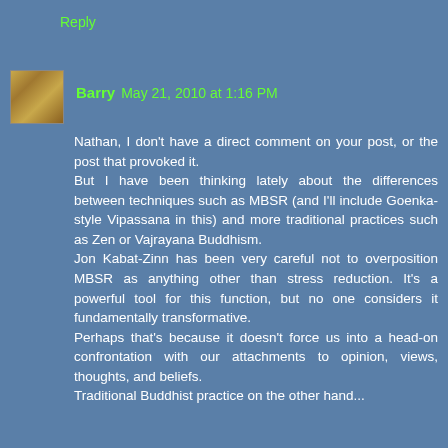Reply
Barry  May 21, 2010 at 1:16 PM
Nathan, I don't have a direct comment on your post, or the post that provoked it.
But I have been thinking lately about the differences between techniques such as MBSR (and I'll include Goenka-style Vipassana in this) and more traditional practices such as Zen or Vajrayana Buddhism.
Jon Kabat-Zinn has been very careful not to overposition MBSR as anything other than stress reduction. It's a powerful tool for this function, but no one considers it fundamentally transformative.
Perhaps that's because it doesn't force us into a head-on confrontation with our attachments to opinion, views, thoughts, and beliefs.
Traditional Buddhist practice on the other hand...